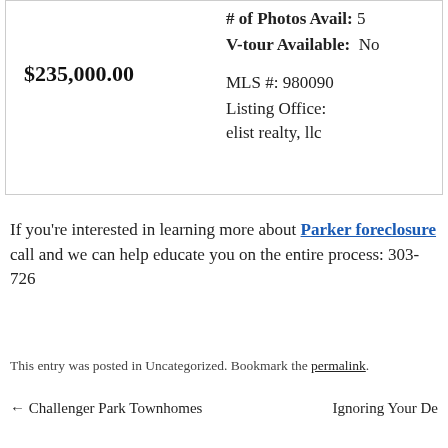# of Photos Avail: 5
V-tour Available: No
$235,000.00
MLS #: 980090
Listing Office: elist realty, llc
If you're interested in learning more about Parker foreclosure call and we can help educate you on the entire process: 303-726
This entry was posted in Uncategorized. Bookmark the permalink.
← Challenger Park Townhomes
Ignoring Your De